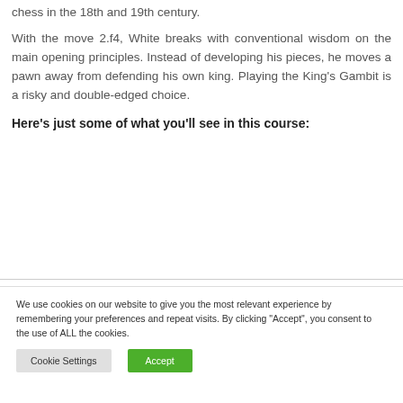chess in the 18th and 19th century.
With the move 2.f4, White breaks with conventional wisdom on the main opening principles. Instead of developing his pieces, he moves a pawn away from defending his own king. Playing the King’s Gambit is a risky and double-edged choice.
Here’s just some of what you’ll see in this course:
We use cookies on our website to give you the most relevant experience by remembering your preferences and repeat visits. By clicking “Accept”, you consent to the use of ALL the cookies.